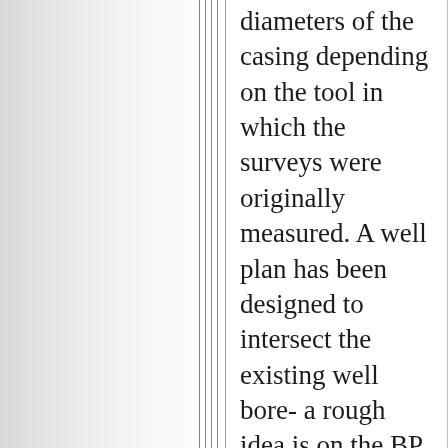diameters of the casing depending on the tool in which the surveys were originally measured. A well plan has been designed to intersect the existing well bore- a rough idea is on the BP schematic view. My guess is that at the present time they are using rotary steerables (the directional company is not known) which should have